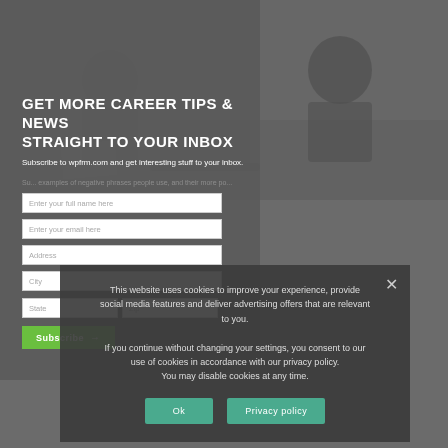[Figure (photo): Business meeting photo — people working at a desk with laptops and documents, dark gray-toned background image]
GET MORE CAREER TIPS & NEWS STRAIGHT TO YOUR INBOX
Subscribe to wpfrm.com and get interesting stuff to your inbox.
Newsletter subscription form with fields: Enter your full name here, Enter your email here, Address, City, State, Zip, and Subscribe button
This website uses cookies to improve your experience, provide social media features and deliver advertising offers that are relevant to you.

If you continue without changing your settings, you consent to our use of cookies in accordance with our privacy policy. You may disable cookies at any time.
Ok
Privacy policy